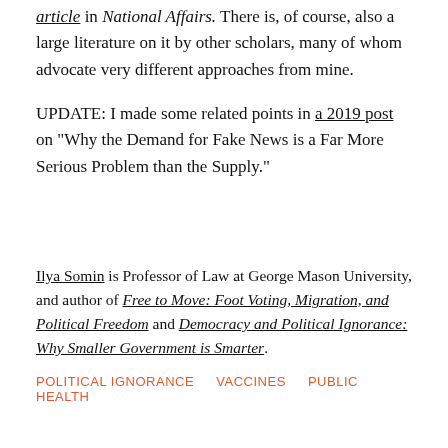article in National Affairs. There is, of course, also a large literature on it by other scholars, many of whom advocate very different approaches from mine.
UPDATE: I made some related points in a 2019 post on "Why the Demand for Fake News is a Far More Serious Problem than the Supply."
Ilya Somin is Professor of Law at George Mason University, and author of Free to Move: Foot Voting, Migration, and Political Freedom and Democracy and Political Ignorance: Why Smaller Government is Smarter.
POLITICAL IGNORANCE   VACCINES   PUBLIC HEALTH